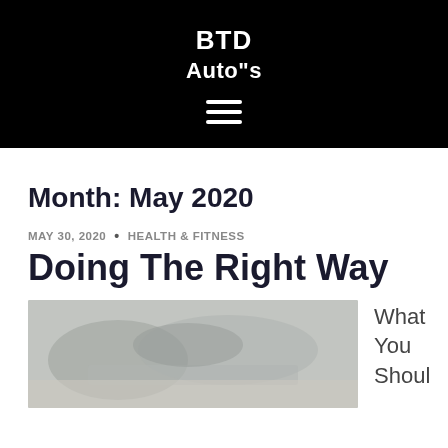BTD Auto"s
Month: May 2020
MAY 30, 2020 • HEALTH & FITNESS
Doing The Right Way
[Figure (photo): A blurred photo showing hands or fitness activity, muted blue-grey tones]
What You Shoul